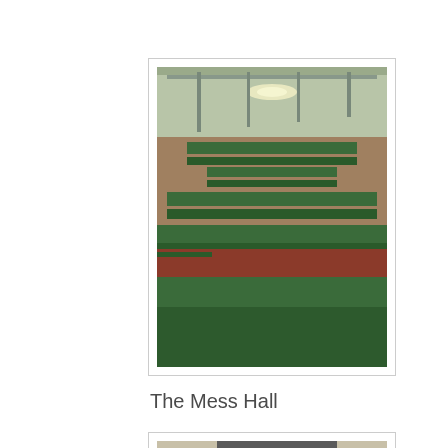[Figure (photo): Interior photograph of a mess hall showing rows of green tables and benches on a reddish-brown floor, with industrial ceiling and lighting visible above.]
The Mess Hall
[Figure (photo): Close-up photograph of a man with gray hair examining or looking at machinery, possibly an aircraft engine or large mechanical component. He is wearing a dark green shirt and has a wristband.]